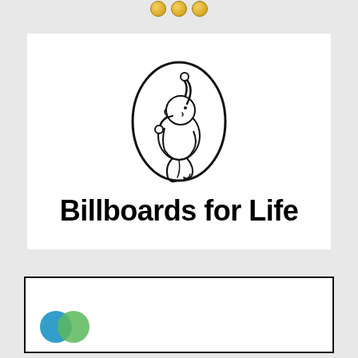[Figure (logo): Three gold circles at the top of the page]
[Figure (logo): Billboards for Life logo: fetus inside oval illustration above bold text reading 'Billboards for Life']
[Figure (logo): White box with black border containing two overlapping circles, blue and green]